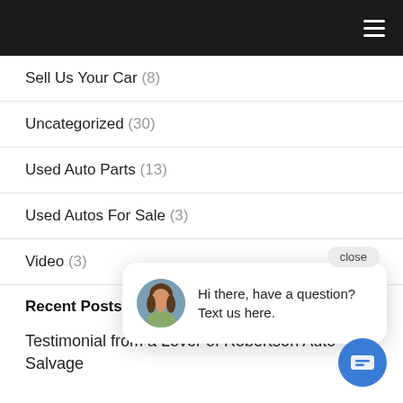Navigation menu
Sell Us Your Car (8)
Uncategorized (30)
Used Auto Parts (13)
Used Autos For Sale (3)
Video (3)
Recent Posts
Testimonial from a Lover of Robertson Auto Salvage
[Figure (other): Chat popup with avatar photo of a woman with long brown hair, close button, and message: Hi there, have a question? Text us here. Blue circular chat FAB button in the bottom-right corner.]